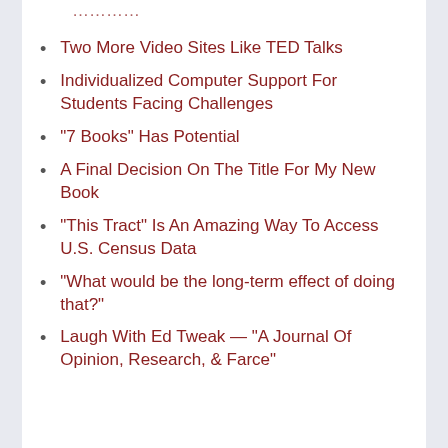Two More Video Sites Like TED Talks
Individualized Computer Support For Students Facing Challenges
“7 Books” Has Potential
A Final Decision On The Title For My New Book
“This Tract” Is An Amazing Way To Access U.S. Census Data
“What would be the long-term effect of doing that?”
Laugh With Ed Tweak — “A Journal Of Opinion, Research, & Farce”